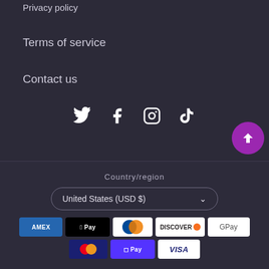Privacy policy
Terms of service
Contact us
[Figure (other): Social media icons: Twitter, Facebook, Instagram, TikTok, with a purple scroll-to-top button]
Country/region
United States (USD $)
[Figure (other): Payment method icons: American Express, Apple Pay, Diners Club, Discover, Google Pay, Mastercard, Shop Pay, Visa]